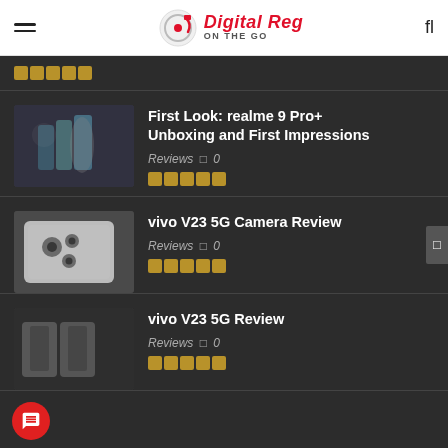Digital Reg On The Go
First Look: realme 9 Pro+ Unboxing and First Impressions — Reviews — 0
vivo V23 5G Camera Review — Reviews — 0
vivo V23 5G Review — Reviews — 0